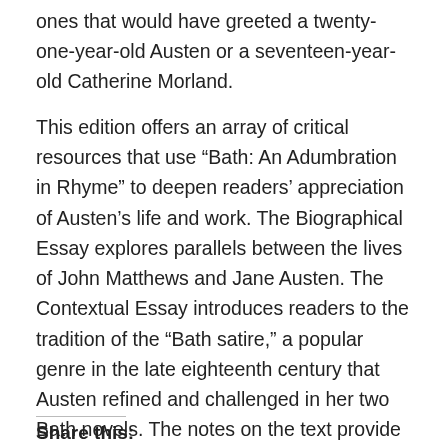ones that would have greeted a twenty-one-year-old Austen or a seventeen-year-old Catherine Morland.
This edition offers an array of critical resources that use “Bath: An Adumbration in Rhyme” to deepen readers’ appreciation of Austen’s life and work. The Biographical Essay explores parallels between the lives of John Matthews and Jane Austen. The Contextual Essay introduces readers to the tradition of the “Bath satire,” a popular genre in the late eighteenth century that Austen refined and challenged in her two Bath novels. The notes on the text provide not only historical and cultural information, but images of late Georgian Bath and direct connections between the poem and Austen’s novels.
Share this: